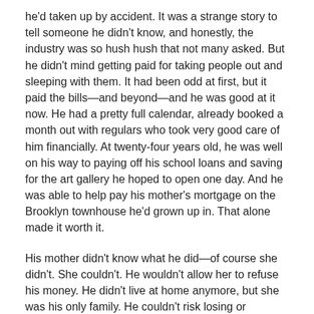he'd taken up by accident. It was a strange story to tell someone he didn't know, and honestly, the industry was so hush hush that not many asked. But he didn't mind getting paid for taking people out and sleeping with them. It had been odd at first, but it paid the bills—and beyond—and he was good at it now. He had a pretty full calendar, already booked a month out with regulars who took very good care of him financially. At twenty-four years old, he was well on his way to paying off his school loans and saving for the art gallery he hoped to open one day. And he was able to help pay his mother's mortgage on the Brooklyn townhouse he'd grown up in. That alone made it worth it.
His mother didn't know what he did—of course she didn't. She couldn't. He wouldn't allow her to refuse his money. He didn't live at home anymore, but she was his only family. He couldn't risk losing or disappointing her. She was beyond supportive and would give him the benefit of any doubt...unless she knew he was being paid for sex. She wouldn't be able to understand that. And honestly...sometimes he wasn't sure he did. But it was satisfying his bank account, keeping food on the table, a roof over his head and more... so he kept it up. His art couldn't pay him the